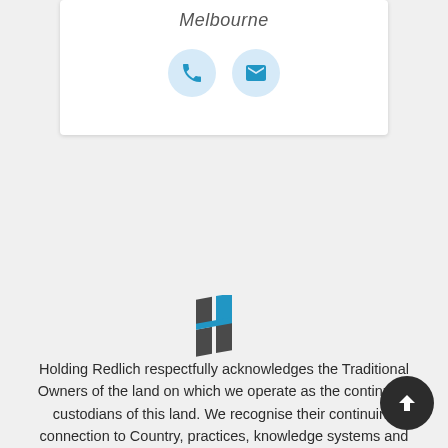Melbourne
[Figure (illustration): Phone icon in a light blue circle]
[Figure (illustration): Email/envelope icon in a light blue circle]
[Figure (logo): Holding Redlich stylized H logo in dark grey and blue]
Holding Redlich respectfully acknowledges the Traditional Owners of the land on which we operate as the continuing custodians of this land. We recognise their continuing connection to Country, practices, knowledge systems and communities. We pay our respects to Elders, past and present.
[Figure (illustration): Dark circular scroll-to-top button with upward arrow]